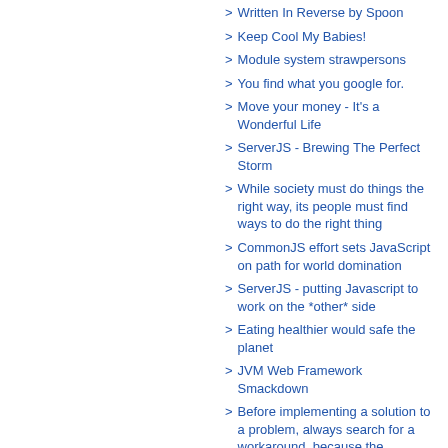Written In Reverse by Spoon
Keep Cool My Babies!
Module system strawpersons
You find what you google for.
Move your money - It's a Wonderful Life
ServerJS - Brewing The Perfect Storm
While society must do things the right way, its people must find ways to do the right thing
CommonJS effort sets JavaScript on path for world domination
ServerJS - putting Javascript to work on the *other* side
Eating healthier would safe the planet
JVM Web Framework Smackdown
Before implementing a solution to a problem, always search for a workaround, because the workaround is often better than the original solution
If they are not ready for